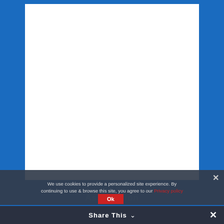[Figure (screenshot): A web page screenshot showing a blue background with a white document area in the center. At the bottom, a cookie consent banner overlays the page with semi-transparent dark background. The banner reads: 'We use cookies to provide a personalized site experience. By continuing to use & browse this site, you agree to our Privacy policy' with a red 'Ok' button and an 'x' close button. Below is a dark 'Share This' bar with a down-arrow chevron and an 'x' button. Behind the banner, text reads 'The National Restaurant Association' in white letters on the blue background.]
We use cookies to provide a personalized site experience. By continuing to use & browse this site, you agree to our Privacy policy
Ok
Share This
The National Restaurant Association